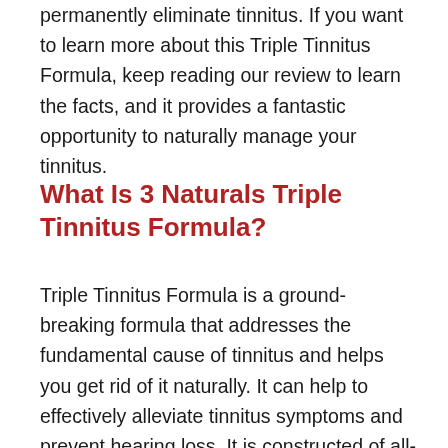permanently eliminate tinnitus. If you want to learn more about this Triple Tinnitus Formula, keep reading our review to learn the facts, and it provides a fantastic opportunity to naturally manage your tinnitus.
What Is 3 Naturals Triple Tinnitus Formula?
Triple Tinnitus Formula is a ground-breaking formula that addresses the fundamental cause of tinnitus and helps you get rid of it naturally. It can help to effectively alleviate tinnitus symptoms and prevent hearing loss. It is constructed of all-natural components that increase blood flow and circulation, allowing damaged ear hair cells inside the inner ear to be repaired. The Triple Tinnitus Formula will drastically lower blood pressure and increase brain activity. It has aided tens of thousands of people in successfully managing their tinnitus symptoms and general health.